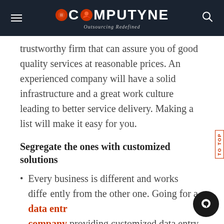COMPUTYNE Outsourcing Redefined
...trustworthy firm that can assure you of good quality services at reasonable prices. An experienced company will have a solid infrastructure and a great work culture leading to better service delivery. Making a list will make it easy for you.
Segregate the ones with customized solutions
Every business is different and works differently from the other one. Going for a data entry company providing customized data entry or